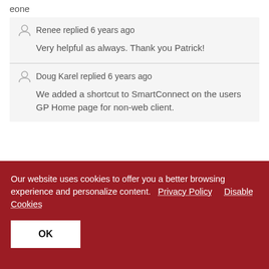eone
Renee replied 6 years ago
Very helpful as always. Thank you Patrick!
Doug Karel replied 6 years ago
We added a shortcut to SmartConnect on the users GP Home page for non-web client.
Our website uses cookies to offer you a better browsing experience and personalize content. Privacy Policy Disable Cookies
OK